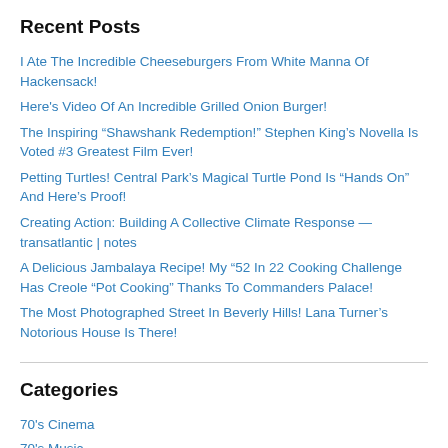Recent Posts
I Ate The Incredible Cheeseburgers From White Manna Of Hackensack!
Here's Video Of An Incredible Grilled Onion Burger!
The Inspiring “Shawshank Redemption!” Stephen King’s Novella Is Voted #3 Greatest Film Ever!
Petting Turtles! Central Park’s Magical Turtle Pond Is “Hands On” And Here’s Proof!
Creating Action: Building A Collective Climate Response — transatlantic | notes
A Delicious Jambalaya Recipe! My “52 In 22 Cooking Challenge Has Creole “Pot Cooking” Thanks To Commanders Palace!
The Most Photographed Street In Beverly Hills! Lana Turner’s Notorious House Is There!
Categories
70's Cinema
70's Music